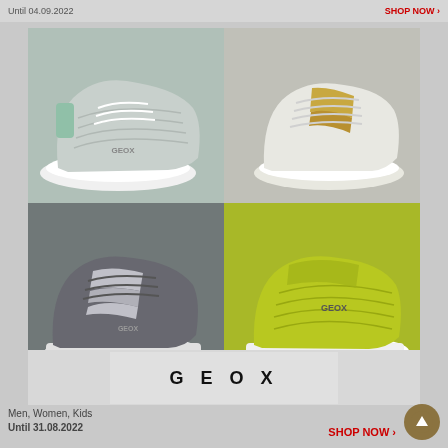Until 04.09.2022   SHOP NOW
[Figure (photo): Four Geox sneakers displayed in a 2x2 grid: top-left is a white/grey knit sneaker, top-right is a white sneaker with gold stripe detail, bottom-left is a dark grey sneaker with silver stripe, bottom-right is a yellow-green knit sneaker. Below the sneakers is a GEOX brand logo panel on a light grey background.]
GEOX
Men, Women, Kids
Until 31.08.2022
SHOP NOW